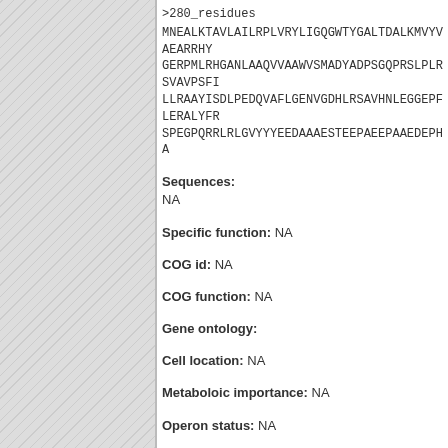>280_residues MNEALKTAVLAILRPLVRYLIGQGWTYGALTDALKMVYVAEARRHYGERPMLRHGANLAAQVVAAWVSMADYADPSGQPRSLPLRSVAVPSFILLRAAYISDLPEDQVAFLGENVGDHLRSAVHNLEGGEPFLERALYFISPEGPQRRLRLGVYYYEEDAAAESTEEPAEEPAAEDEPHA
Sequences: NA
Specific function: NA
COG id: NA
COG function: NA
Gene ontology:
Cell location: NA
Metaboloic importance: NA
Operon status: NA
Operon components: NA
Similarity: NA